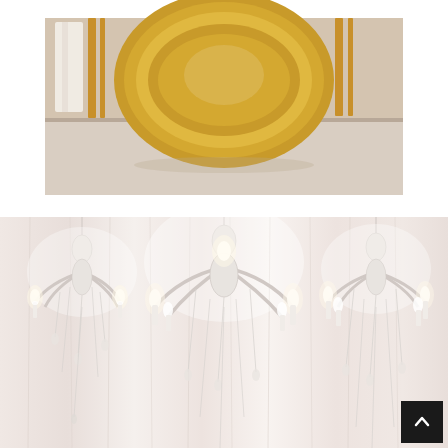[Figure (photo): Top portion of an elegant table setting with a gold charger plate, white tablecloth, and gold flatware visible against a neutral background.]
[Figure (photo): Three ornate crystal chandeliers hanging against a white draped fabric backdrop, glowing with warm candle-style lights in a wedding or event venue setting.]